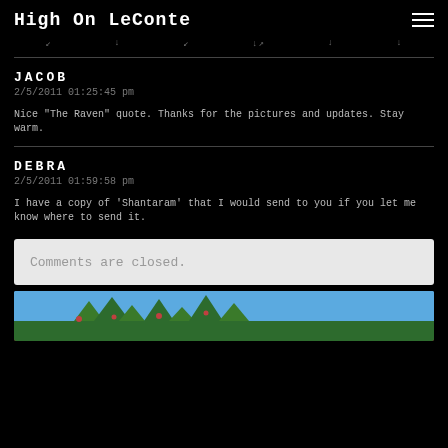High On LeConte
JACOB
2/5/2011 01:25:45 pm
Nice "The Raven" quote. Thanks for the pictures and updates. Stay warm.
DEBRA
2/5/2011 01:59:58 pm
I have a copy of 'Shantaram' that I would send to you if you let me know where to send it.
Comments are closed.
[Figure (photo): Partial photo showing tree tops against a blue sky at the bottom of the page]